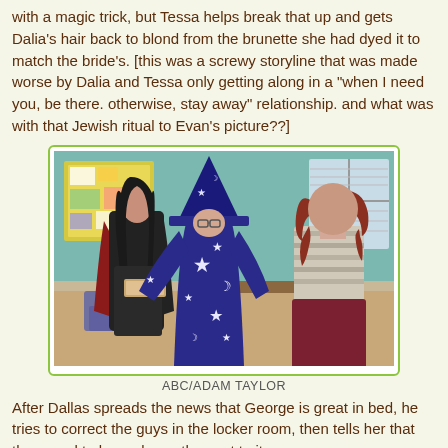with a magic trick, but Tessa helps break that up and gets Dalia's hair back to blond from the brunette she had dyed it to match the bride's. [this was a screwy storyline that was made worse by Dalia and Tessa only getting along in a "when I need you, be there. otherwise, stay away" relationship. and what was with that Jewish ritual to Evan's picture??]
[Figure (photo): Three people in a classroom/office setting: a woman with long dark hair in a dark dress, a person in a wizard/sorcerer costume with star-patterned robe and tall pointed hat, and a woman with red hair in a striped top viewed from behind.]
ABC/ADAM TAYLOR
After Dallas spreads the news that George is great in bed, he tries to correct the guys in the locker room, then tells her that they need to be real... so they get to it.
[Figure (photo): Partial view of a photo at the bottom of the page, appears to show warm reddish/orange tones.]